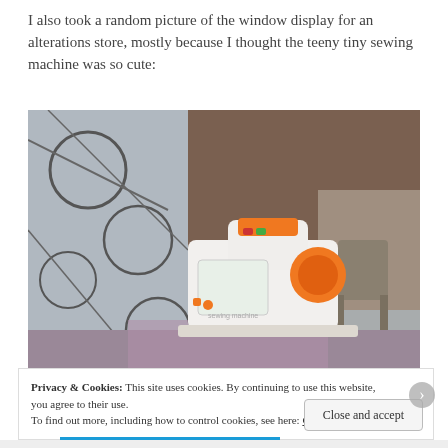I also took a random picture of the window display for an alterations store, mostly because I thought the teeny tiny sewing machine was so cute:
[Figure (photo): Photo of a tiny white and orange toy sewing machine displayed in a store window, surrounded by fabric and curtains.]
Privacy & Cookies: This site uses cookies. By continuing to use this website, you agree to their use.
To find out more, including how to control cookies, see here: Cookie Policy
Close and accept